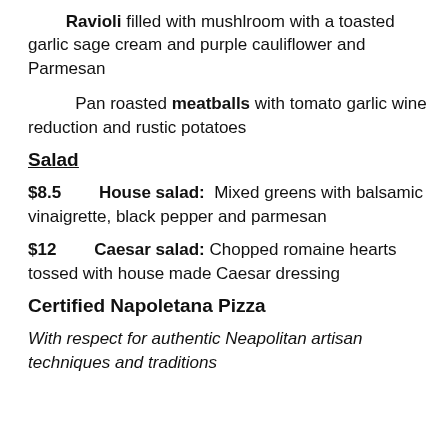Ravioli filled with mushlroom with a toasted garlic sage cream and purple cauliflower and Parmesan
Pan roasted meatballs with tomato garlic wine reduction and rustic potatoes
Salad
$8.5   House salad:  Mixed greens with balsamic vinaigrette, black pepper and parmesan
$12   Caesar salad: Chopped romaine hearts tossed with house made Caesar dressing
Certified Napoletana Pizza
With respect for authentic Neapolitan artisan techniques and traditions